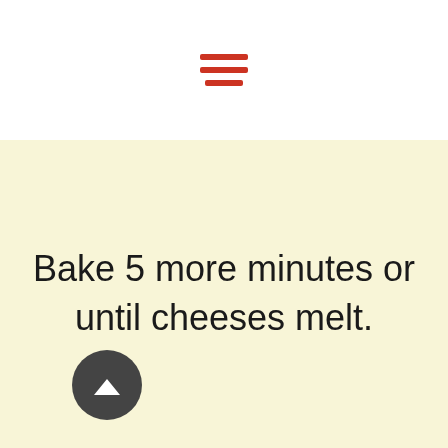[Figure (illustration): Hamburger menu icon with three horizontal red bars, centered in white header area]
Bake 5 more minutes or until cheeses melt.
[Figure (illustration): Dark circular back-to-top button with white upward chevron arrow]